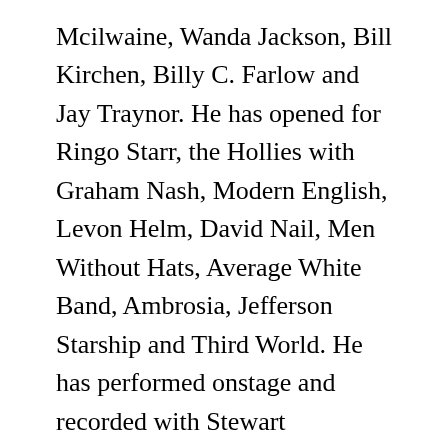Mcilwaine, Wanda Jackson, Bill Kirchen, Billy C. Farlow and Jay Traynor. He has opened for Ringo Starr, the Hollies with Graham Nash, Modern English, Levon Helm, David Nail, Men Without Hats, Average White Band, Ambrosia, Jefferson Starship and Third World. He has performed onstage and recorded with Stewart Copeland. He has also performed in larger backing ensembles with the Moody Blues, Aretha Franklin and Dennis DeYoung. He has appeared in the Smithsonian Channel's special on Wanda Jackson and on commercially released videos performing with the Moscow Musical Theatre for Children. As a member of the Empire Jazz Orchestra, he has performed with Rufus Reid, Lew Soloff, Randy Brecker, Benny Golson, Dave Holland and numerous others. He has also performed at the Newport Jazz Festival with the Albany Big Jazz Band.